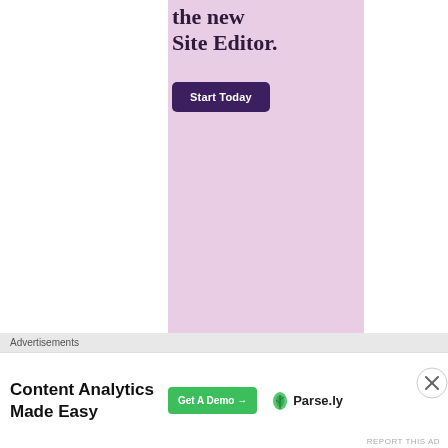[Figure (illustration): Pink/lavender advertisement banner with large serif text 'the new Site Editor.' and a dark purple 'Start Today' button]
Advertisements
[Figure (screenshot): Advertisement for Parse.ly: 'Content Analytics Made Easy' with a green 'Get A Demo →' button and the Parse.ly logo]